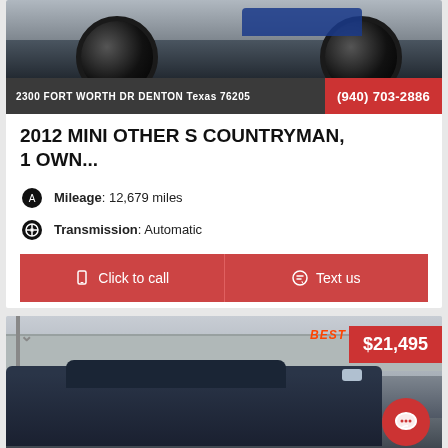[Figure (photo): Partial view of a blue car showing the front wheel area from above]
2300 FORT WORTH DR DENTON Texas 76205   (940) 703-2886
2012 MINI OTHER S COUNTRYMAN, 1 OWN...
Mileage: 12,679 miles
Transmission: Automatic
Click to call
Text us
[Figure (photo): Dark navy blue SUV/Tahoe style vehicle parked outside a dealership building, with a $21,495 price badge in red in the top right corner and a chat bubble FAB button in the bottom right]